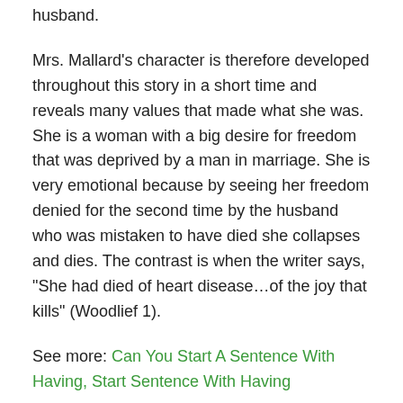husband.
Mrs. Mallard’s character is therefore developed throughout this story in a short time and reveals many values that made what she was. She is a woman with a big desire for freedom that was deprived by a man in marriage. She is very emotional because by seeing her freedom denied for the second time by the husband who was mistaken to have died she collapses and dies. The contrast is when the writer says, “She had died of heart disease…of the joy that kills” (Woodlief 1).
See more: Can You Start A Sentence With Having, Start Sentence With Having
Conclusion
Mrs. Mallard was not able to handle the swings in her emotions and this cost her life. Mr. Mallard was